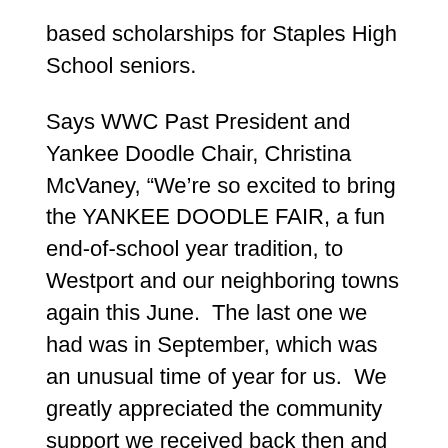based scholarships for Staples High School seniors.
Says WWC Past President and Yankee Doodle Chair, Christina McVaney, “We’re so excited to bring the YANKEE DOODLE FAIR, a fun end-of-school year tradition, to Westport and our neighboring towns again this June.  The last one we had was in September, which was an unusual time of year for us.  We greatly appreciated the community support we received back then and hope that we will see the same support in June.  We try to bring new events and activities; this year we’re excited about our addition of a couple of bands that will be playing on Friday and Saturday evenings.  Net profits from the fair will support many charities in Fairfield County, need-based college scholarships to Staples High School students, and our WWC Food Closet that works in tandem with Westport’s Department of Human Services.  So please save the dates of June 16-19 to